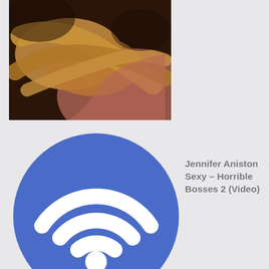[Figure (photo): Close-up photo of intertwined hands/arms under warm golden-toned lighting with pink fabric visible]
[Figure (illustration): Blue circle icon with white WiFi symbol (three curved arcs and a dot)]
Jennifer Aniston Sexy – Horrible Bosses 2 (Video)